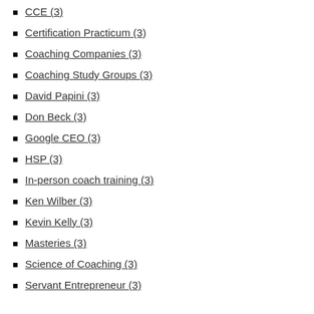CCE (3)
Certification Practicum (3)
Coaching Companies (3)
Coaching Study Groups (3)
David Papini (3)
Don Beck (3)
Google CEO (3)
HSP (3)
In-person coach training (3)
Ken Wilber (3)
Kevin Kelly (3)
Masteries (3)
Science of Coaching (3)
Servant Entrepreneur (3)